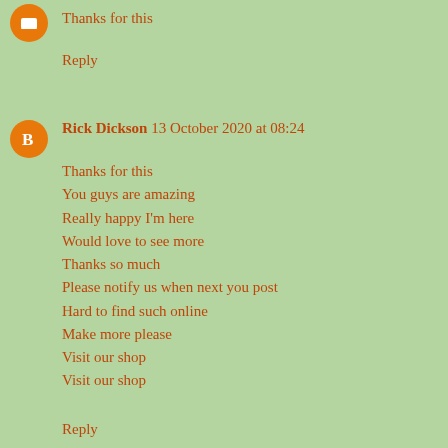Thanks for this
Reply
Rick Dickson 13 October 2020 at 08:24
Thanks for this
You guys are amazing
Really happy I'm here
Would love to see more
Thanks so much
Please notify us when next you post
Hard to find such online
Make more please
Visit our shop
Visit our shop
Reply